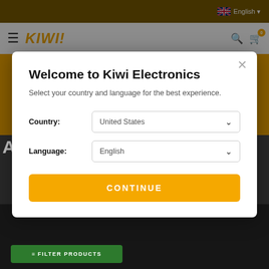[Figure (screenshot): Kiwi Electronics website screenshot showing navigation bar with hamburger menu, KIWI! logo, search and cart icons, English language selector with UK flag in top bar, and orange promotional banner in background]
Welcome to Kiwi Electronics
Select your country and language for the best experience.
Country: United States
Language: English
CONTINUE
FILTER PRODUCTS